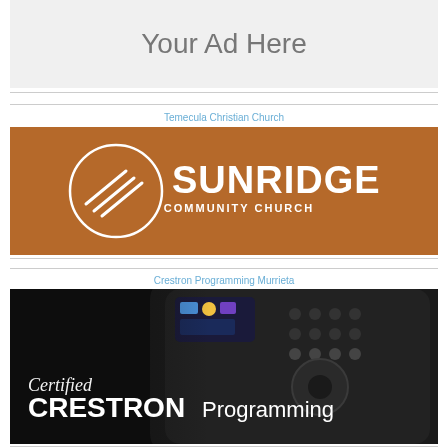[Figure (other): Gray placeholder box with text 'Your Ad Here']
Temecula Christian Church
[Figure (logo): Sunridge Community Church logo on brown/orange background. Circle icon with diagonal lines on left, 'SUNRIDGE' in large white bold letters, 'COMMUNITY CHURCH' in smaller white letters below.]
Crestron Programming Murrieta
[Figure (photo): Dark photo of a Crestron remote control device with colorful buttons and screen. Text overlay reads 'Certified CRESTRON Programming' in white italic and bold letters.]